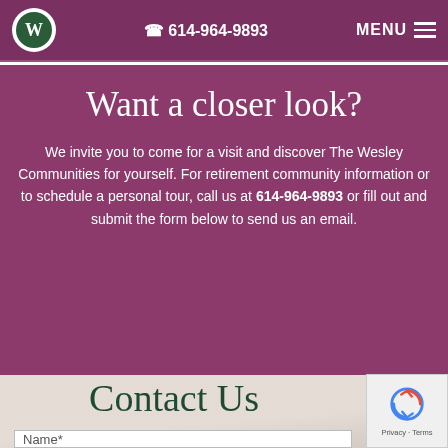614-964-9893  MENU
Want a closer look?
We invite you to come for a visit and discover The Wesley Communities for yourself. For retirement community information or to schedule a personal tour, call us at 614-964-9893 or fill out and submit the form below to send us an email.
Contact Us